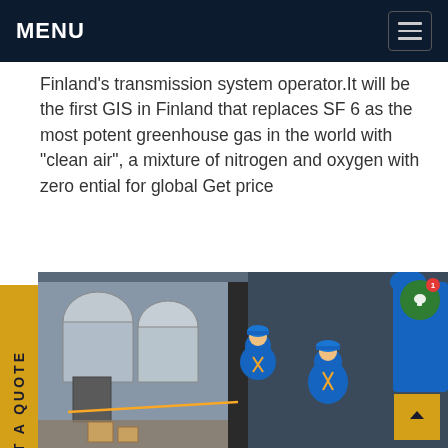MENU
Finland's transmission system operator.It will be the first GIS in Finland that replaces SF 6 as the most potent greenhouse gas in the world with "clean air", a mixture of nitrogen and oxygen with zero ential for global Get price
[Figure (photo): Workers in blue coveralls and hard hats working on industrial gas insulated switchgear (GIS) equipment outdoors on a platform. The equipment includes large cylindrical components, piping, and junction boxes. Three workers are visible, two kneeling and working on connections, one standing.]